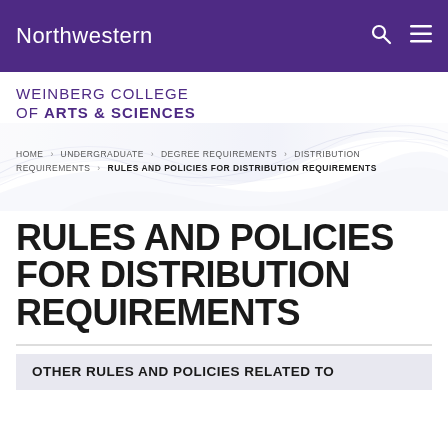Northwestern
WEINBERG COLLEGE OF ARTS & SCIENCES
HOME > UNDERGRADUATE > DEGREE REQUIREMENTS > DISTRIBUTION REQUIREMENTS > RULES AND POLICIES FOR DISTRIBUTION REQUIREMENTS
RULES AND POLICIES FOR DISTRIBUTION REQUIREMENTS
OTHER RULES AND POLICIES RELATED TO